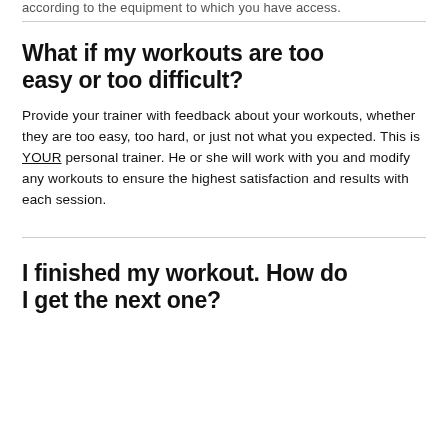according to the equipment to which you have access.
What if my workouts are too easy or too difficult?
Provide your trainer with feedback about your workouts, whether they are too easy, too hard, or just not what you expected. This is YOUR personal trainer. He or she will work with you and modify any workouts to ensure the highest satisfaction and results with each session.
I finished my workout. How do I get the next one?